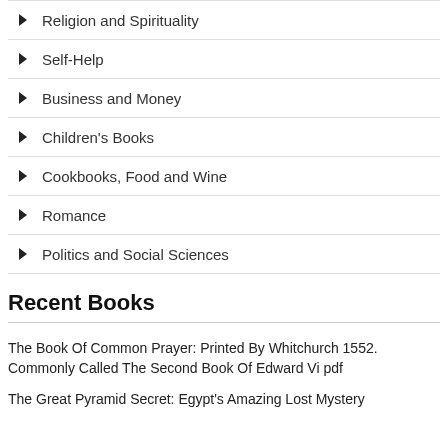Religion and Spirituality
Self-Help
Business and Money
Children's Books
Cookbooks, Food and Wine
Romance
Politics and Social Sciences
Recent Books
The Book Of Common Prayer: Printed By Whitchurch 1552. Commonly Called The Second Book Of Edward Vi pdf
The Great Pyramid Secret: Egypt's Amazing Lost Mystery